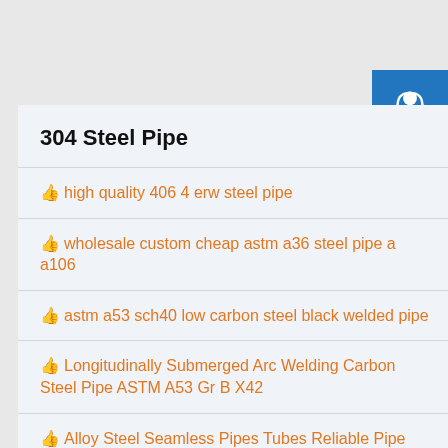304 Steel Pipe
high quality 406 4 erw steel pipe
wholesale custom cheap astm a36 steel pipe a a106
astm a53 sch40 low carbon steel black welded pipe
Longitudinally Submerged Arc Welding Carbon Steel Pipe ASTM A53 Gr B X42
Alloy Steel Seamless Pipes Tubes Reliable Pipe
[Figure (infographic): Three blue square buttons on the right side: top button has a customer support headset icon, middle button has a phone/call icon, bottom button has Skype 'S' logo icon]